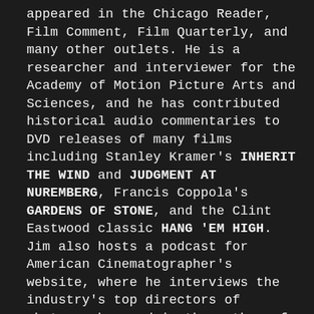appeared in the Chicago Reader, Film Comment, Film Quarterly, and many other outlets. He is a researcher and interviewer for the Academy of Motion Picture Arts and Sciences, and he has contributed historical audio commentaries to DVD releases of many films including Stanley Kramer's INHERIT THE WIND and JUDGMENT AT NUREMBERG, Francis Coppola's GARDENS OF STONE, and the Clint Eastwood classic HANG 'EM HIGH. Jim also hosts a podcast for American Cinematographer's website, where he interviews the industry's top directors of photography, and is the author of Focal Point, a regular column on directing for Filmmaker Magazine. He is an in-house Q&A moderator at Quentin Tarantino's New Beverly Cinema and a programming consultant at the Egyptian and Aero theaters in Los Angeles, where he has hosted discussions with Martin Scorsese, Charlize Theron, John Travolta, Jodi Rensch, Lawrence...